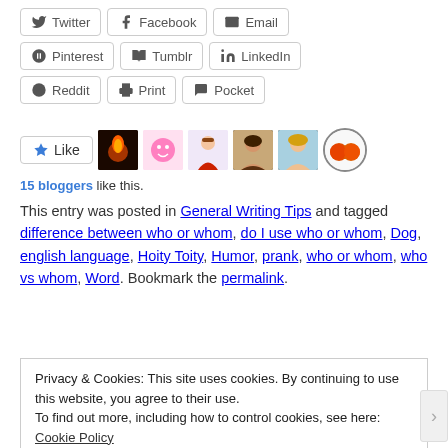[Figure (infographic): Social share buttons: Twitter, Facebook, Email, Pinterest, Tumblr, LinkedIn, Reddit, Print, Pocket]
[Figure (infographic): Like button with star icon and 6 blogger avatar thumbnails]
15 bloggers like this.
This entry was posted in General Writing Tips and tagged difference between who or whom, do I use who or whom, Dog, english language, Hoity Toity, Humor, prank, who or whom, who vs whom, Word. Bookmark the permalink.
Privacy & Cookies: This site uses cookies. By continuing to use this website, you agree to their use.
To find out more, including how to control cookies, see here: Cookie Policy
Close and accept